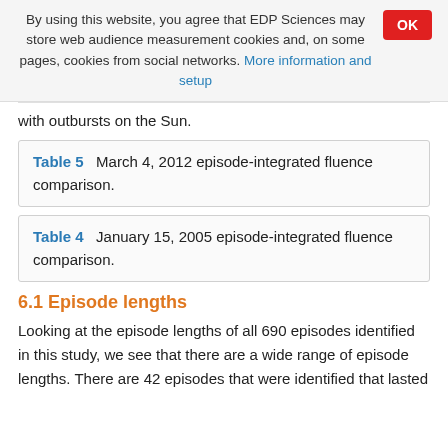By using this website, you agree that EDP Sciences may store web audience measurement cookies and, on some pages, cookies from social networks. More information and setup
with outbursts on the Sun.
Table 5   March 4, 2012 episode-integrated fluence comparison.
Table 4   January 15, 2005 episode-integrated fluence comparison.
6.1 Episode lengths
Looking at the episode lengths of all 690 episodes identified in this study, we see that there are a wide range of episode lengths. There are 42 episodes that were identified that lasted